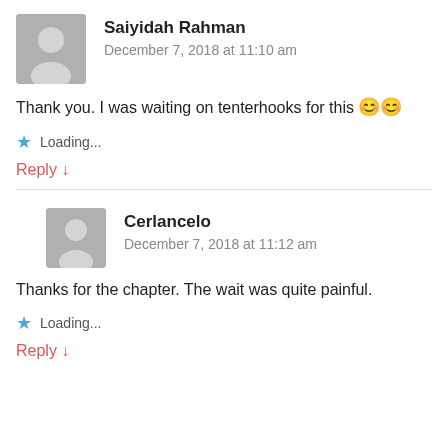Saiyidah Rahman
December 7, 2018 at 11:10 am
Thank you. I was waiting on tenterhooks for this 😊😊
Loading...
Reply ↓
Cerlancelo
December 7, 2018 at 11:12 am
Thanks for the chapter. The wait was quite painful.
Loading...
Reply ↓